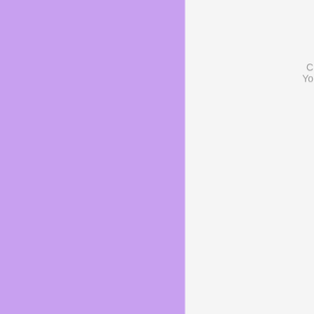[Figure (screenshot): Purple sidebar panel on the left side of a website layout]
Posted by: admin
11/10/2018
Search
There are currently 0 users online.
Site's last update: 1 day 13 hours ago
The Magdalena site is hosted by the wonderful www.servus.at
Copyright © 1999 - 2018 All Rights Reserved A and other copyright laws as a collective work a or transmitted in any form without the prior writ